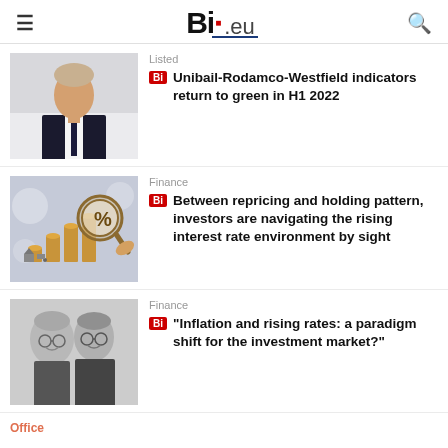Bi.eu
[Figure (photo): Man in dark suit and tie, professional portrait, white background]
Listed
Unibail-Rodamco-Westfield indicators return to green in H1 2022
[Figure (photo): Stacked coins with percentage magnifying glass, financial/interest rate concept image]
Finance
Between repricing and holding pattern, investors are navigating the rising interest rate environment by sight
[Figure (photo): Two men with glasses, black and white portrait, smiling]
Finance
"Inflation and rising rates: a paradigm shift for the investment market?"
Office